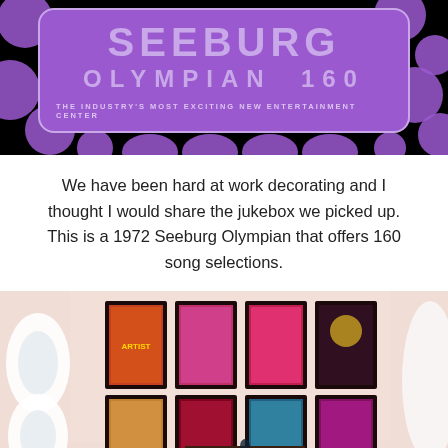[Figure (photo): Seeburg Olympian 160 jukebox promotional graphic - purple background with black bubble pattern, purple rounded rectangle containing stylized text 'SEEBURG OLYMPIAN 160 - THE INDUSTRY'S MOST EXCITING NEW ENTERTAINMENT CENTER']
We have been hard at work decorating and I thought I would share the jukebox we picked up. This is a 1972 Seeburg Olympian that offers 160 song selections.
[Figure (photo): Interior room photo showing a wall with 8 framed psychedelic concert posters arranged in a 4x2 grid, retro white curved wall decor on the left, and a Seeburg jukebox visible in the lower center.]